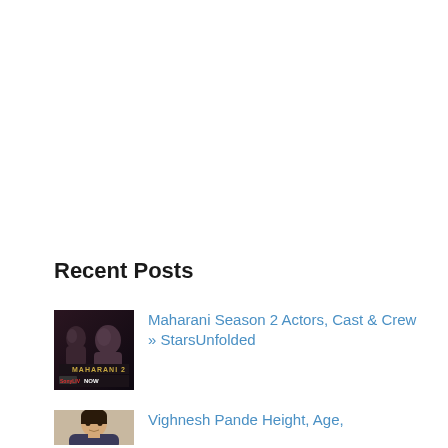Recent Posts
[Figure (photo): Maharani Season 2 movie poster showing two faces in profile against a dark background, with text 'MAHARANI 2' and 'NOW']
Maharani Season 2 Actors, Cast & Crew » StarsUnfolded
[Figure (photo): Portrait photo of Vighnesh Pande]
Vighnesh Pande Height, Age,